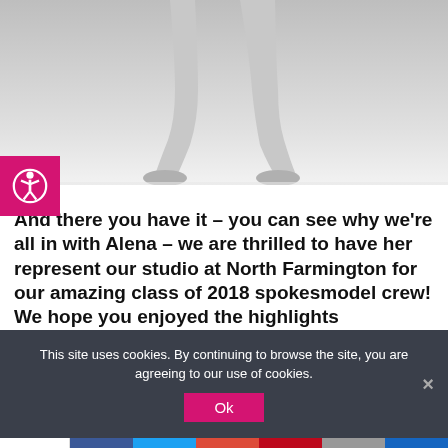[Figure (photo): Black and white photo of legs wearing strappy high heel platform shoes, bottom portion cropped.]
And there you have it – you can see why we're all in with Alena – we are thrilled to have her represent our studio at North Farmington for our amazing class of 2018 spokesmodel crew!  We hope you enjoyed the highlights
This site uses cookies. By continuing to browse the site, you are agreeing to our use of cookies.
Ok
Shares